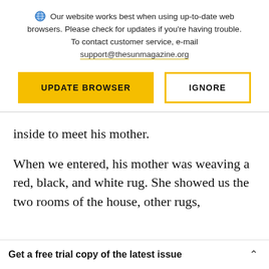Our website works best when using up-to-date web browsers. Please check for updates if you're having trouble. To contact customer service, e-mail support@thesunmagazine.org
[Figure (other): Two buttons: 'UPDATE BROWSER' (yellow filled) and 'IGNORE' (yellow outline)]
inside to meet his mother.
When we entered, his mother was weaving a red, black, and white rug. She showed us the two rooms of the house, other rugs,
Get a free trial copy of the latest issue